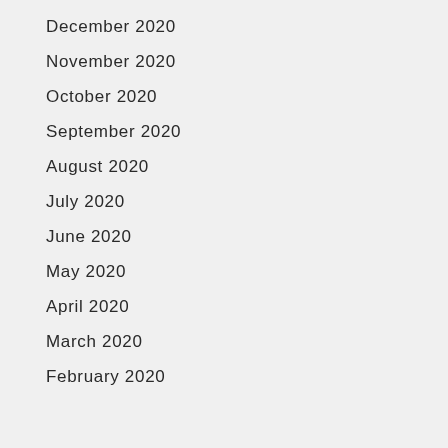December 2020
November 2020
October 2020
September 2020
August 2020
July 2020
June 2020
May 2020
April 2020
March 2020
February 2020